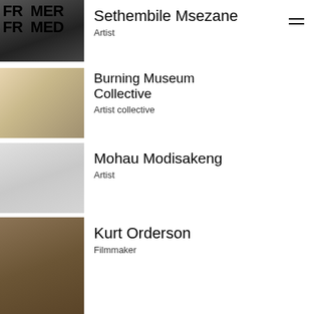FRAMER FRAMED
Sethembile Msezane
Artist
Burning Museum Collective
Artist collective
Mohau Modisakeng
Artist
Kurt Orderson
Filmmaker